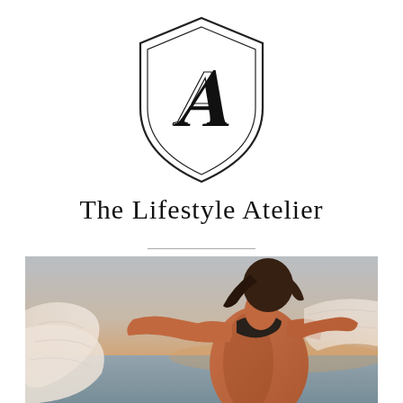[Figure (logo): Shield/crest logo with decorative letter A in script inside, double-outline shield shape]
The Lifestyle Atelier
[Figure (photo): Woman in black bikini top with flowing white sheer fabric/shirt billowing around her, photographed outdoors at dusk or golden hour near water, warm tones]